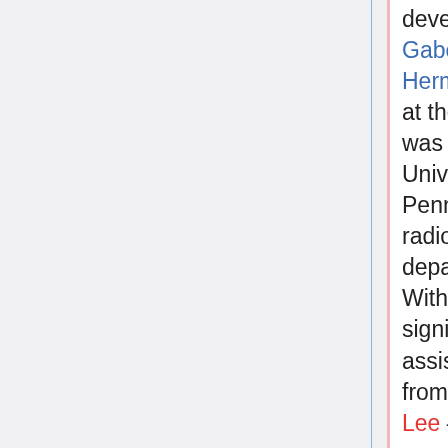developed by Gabor T. Herman who, at the time, was in the University of Pennsylvania's radiology department. With significant assistance from Monika Lee — our computer systems manager — the code was tuned to execute on the astronomy group's VAX 11/750 and its